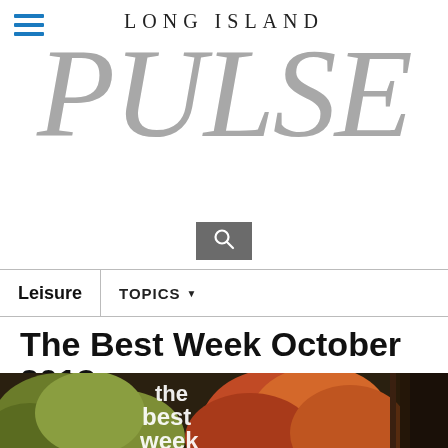[Figure (logo): Long Island Pulse magazine logo — 'LONG ISLAND' in small serif caps above large italic gray 'PULSE' wordmark, with hamburger menu icon top-left and search icon below]
Leisure | TOPICS
The Best Week October 2013
THE BEST WEEK
pulse staff | SEPTEMBER 21, 2013
[Figure (photo): Close-up photo of apples (green and red/orange) with overlaid white text 'the best week']